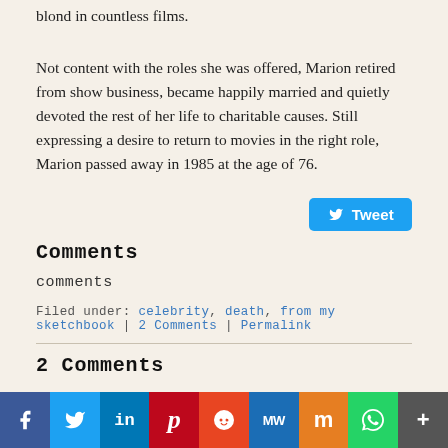blond in countless films.
Not content with the roles she was offered, Marion retired from show business, became happily married and quietly devoted the rest of her life to charitable causes. Still expressing a desire to return to movies in the right role, Marion passed away in 1985 at the age of 76.
[Figure (other): Twitter Tweet button (blue rounded rectangle with bird icon and 'Tweet' text)]
Comments
comments
Filed under: celebrity, death, from my sketchbook | 2 Comments | Permalink
2 Comments
[Figure (other): Social media sharing bar with buttons: Facebook (f), Twitter bird, LinkedIn (in), Pinterest (P), Reddit alien, MW, Mix (m), WhatsApp, More (+)]